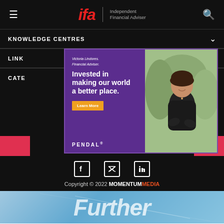ifa | Independent Financial Adviser
KNOWLEDGE CENTRES
LINK
CATE
[Figure (infographic): Pendal advertisement banner featuring Victoria Lindores, Financial Adviser, with headline 'Invested in making our world a better place.' and a Learn More button, on purple background with photo of a woman]
Copyright © 2022 MOMENTUM MEDIA
[Figure (infographic): Further banner advertisement with sky background]
dot image pixel